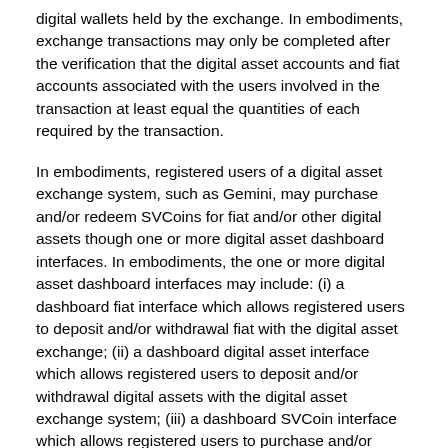digital wallets held by the exchange. In embodiments, exchange transactions may only be completed after the verification that the digital asset accounts and fiat accounts associated with the users involved in the transaction at least equal the quantities of each required by the transaction.
In embodiments, registered users of a digital asset exchange system, such as Gemini, may purchase and/or redeem SVCoins for fiat and/or other digital assets though one or more digital asset dashboard interfaces. In embodiments, the one or more digital asset dashboard interfaces may include: (i) a dashboard fiat interface which allows registered users to deposit and/or withdrawal fiat with the digital asset exchange; (ii) a dashboard digital asset interface which allows registered users to deposit and/or withdrawal digital assets with the digital asset exchange system; (iii) a dashboard SVCoin interface which allows registered users to purchase and/or redeem SVCoins with the digital asset exchange system; and (iv) a dashboard Security Token interface which allow Security Token issuers to provide instructions to transfer SVCoins to Security Token holders. Each of those dashboard